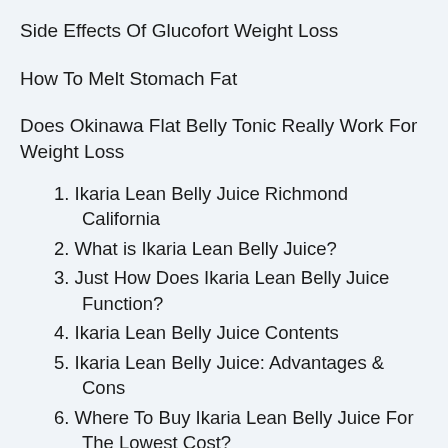Side Effects Of Glucofort Weight Loss
How To Melt Stomach Fat
Does Okinawa Flat Belly Tonic Really Work For Weight Loss
1. Ikaria Lean Belly Juice Richmond California
2. What is Ikaria Lean Belly Juice?
3. Just How Does Ikaria Lean Belly Juice Function?
4. Ikaria Lean Belly Juice Contents
5. Ikaria Lean Belly Juice: Advantages & Cons
6. Where To Buy Ikaria Lean Belly Juice For The Lowest Cost?
7. Extra Inquiries On Ikaria Lean Belly Juice